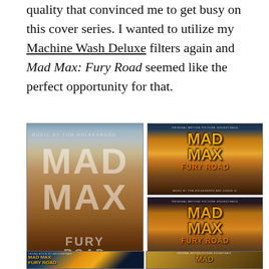quality that convinced me to get busy on this cover series. I wanted to utilize my Machine Wash Deluxe filters again and Mad Max: Fury Road seemed like the perfect opportunity for that.
[Figure (photo): Collage of four Mad Max: Fury Road Original Motion Picture Soundtrack album covers arranged in a grid — large main cover on the left showing desert scene with car and figure, two smaller covers stacked on the right showing orange/yellow desert scenes, and two more covers partially visible at the bottom.]